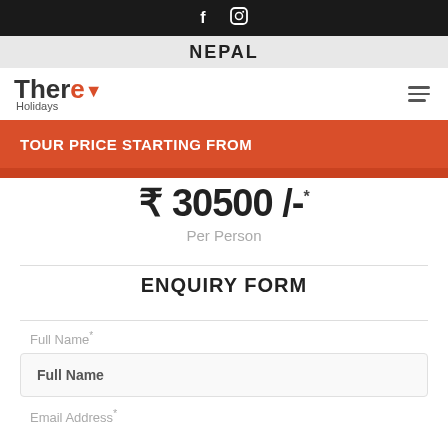f  [instagram icon]
NEPAL
[Figure (logo): There Holidays logo with red location pin icon]
TOUR PRICE STARTING FROM
₹ 30500 /-* Per Person
ENQUIRY FORM
Full Name *
Full Name
Email Address *